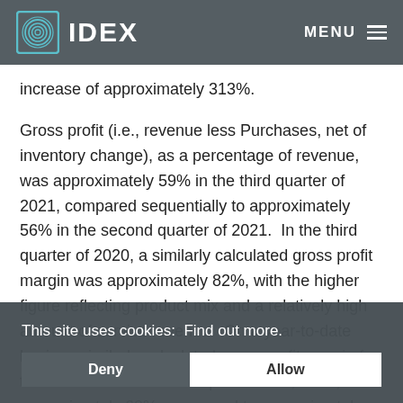IDEX | MENU
increase of approximately 313%.
Gross profit (i.e., revenue less Purchases, net of inventory change), as a percentage of revenue, was approximately 59% in the third quarter of 2021, compared sequentially to approximately 56% in the second quarter of 2021. In the third quarter of 2020, a similarly calculated gross profit margin was approximately 82%, with the higher figure reflecting product mix and a relatively high amount of service revenue. On a year-to-date basis, a similarly calculated gross profit margin for the nine months ended September 30, 2021, was approximately 60%, compared to approximately 80% for the nine months ended September 30, 2020, reflecting the shift to product revenue from service revenue during the prior year-to-date period.